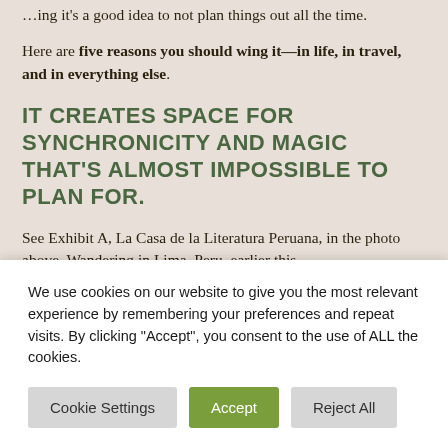…ing it's a good idea to not plan things out all the time.
Here are five reasons you should wing it—in life, in travel, and in everything else.
IT CREATES SPACE FOR SYNCHRONICITY AND MAGIC THAT'S ALMOST IMPOSSIBLE TO PLAN FOR.
See Exhibit A, La Casa de la Literatura Peruana, in the photo above. Wandering in Lima, Peru, earlier this
We use cookies on our website to give you the most relevant experience by remembering your preferences and repeat visits. By clicking "Accept", you consent to the use of ALL the cookies.